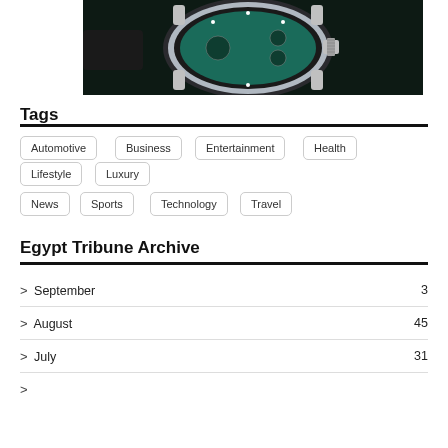[Figure (photo): Close-up photograph of a luxury watch with a dark teal/green dial, silver bezel with crown on the right, on a dark leather strap against a dark background]
Tags
Automotive
Business
Entertainment
Health
Lifestyle
Luxury
News
Sports
Technology
Travel
Egypt Tribune Archive
September 3
August 45
July 31